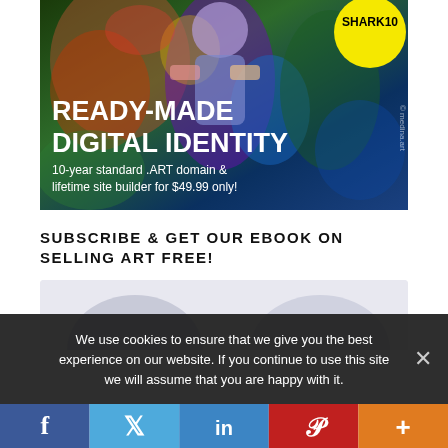[Figure (illustration): Advertisement banner for medina.art showing a colorful painted figure background with a yellow circular badge reading 'SHARK10', bold white text 'READY-MADE DIGITAL IDENTITY', and subtext '10-year standard .ART domain & lifetime site builder for $49.99 only!' with a watermark '© medina.art']
SUBSCRIBE & GET OUR EBOOK ON SELLING ART FREE!
[Figure (photo): Partially visible ebook cover or subscription image with light blue-grey background showing a circular silhouette at the top]
We use cookies to ensure that we give you the best experience on our website. If you continue to use this site we will assume that you are happy with it.
[Figure (infographic): Social media sharing bar with five buttons: Facebook (dark blue, f), Twitter (light blue, bird icon), LinkedIn (medium blue, in), Pinterest (red, P), and More (orange, +)]